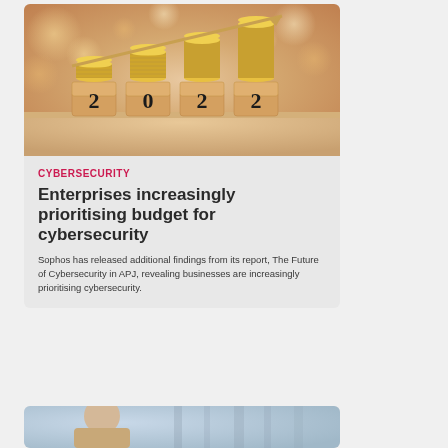[Figure (photo): Photo of stacked coins on wooden blocks showing '2022' with an upward arrow, warm bokeh background]
CYBERSECURITY
Enterprises increasingly prioritising budget for cybersecurity
Sophos has released additional findings from its report, The Future of Cybersecurity in APJ, revealing businesses are increasingly prioritising cybersecurity.
[Figure (photo): Partial view of a person's photo at the bottom of the page]